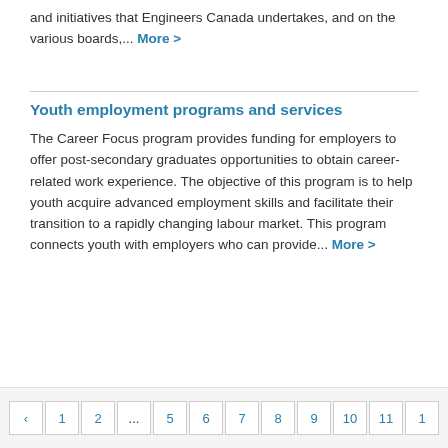and initiatives that Engineers Canada undertakes, and on the various boards,... More >
Youth employment programs and services
The Career Focus program provides funding for employers to offer post-secondary graduates opportunities to obtain career-related work experience. The objective of this program is to help youth acquire advanced employment skills and facilitate their transition to a rapidly changing labour market. This program connects youth with employers who can provide... More >